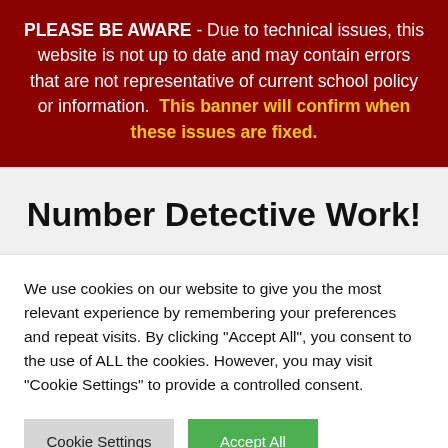PLEASE BE AWARE - Due to technical issues, this website is not up to date and may contain errors that are not representative of current school policy or information. This banner will confirm when these issues are fixed.
Number Detective Work!
We use cookies on our website to give you the most relevant experience by remembering your preferences and repeat visits. By clicking "Accept All", you consent to the use of ALL the cookies. However, you may visit "Cookie Settings" to provide a controlled consent.